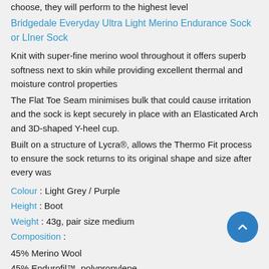choose, they will perform to the highest level
Bridgedale Everyday Ultra Light Merino Endurance Sock or LIner Sock
Knit with super-fine merino wool throughout it offers superb softness next to skin while providing excellent thermal and moisture control properties
The Flat Toe Seam minimises bulk that could cause irritation and the sock is kept securely in place with an Elasticated Arch and 3D-shaped Y-heel cup.
Built on a structure of Lycra®, allows the Thermo Fit process to ensure the sock returns to its original shape and size after every was
Colour : Light Grey / Purple
Height : Boot
Weight : 43g, pair size medium
Composition :
45% Merino Wool
45% Endurofil™, polypropylene